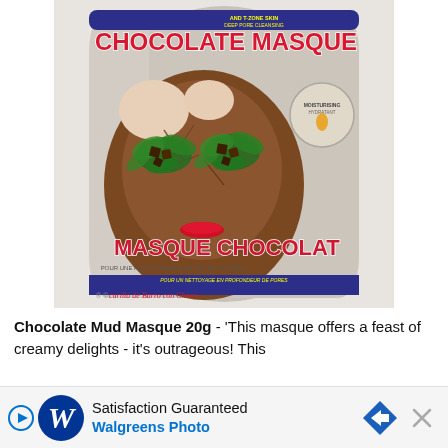[Figure (photo): Product photo of a Chocolate Masque / Masque Chocolat facial mud mask packet. The silver/grey packet features a woman's face covered in chocolate mud mask with green leaves and chocolate chunks covering her eyes. Text on pack reads 'Chocolate Masque' in red at top, 'MOISTURISING HYDRATANT' on a round badge, 'MASQUE CHOCOLAT' in red script, 'POUR UNE PEAU NORMALE, SECHE ET LA ZONE T', 'POUR UN NETTOYAGE EN PROFONDEUR DE PORES' on a blue bar.]
Chocolate Mud Masque 20g - 'This masque offers a feast of creamy delights - it's outrageous! This de...
[Figure (screenshot): Advertisement banner for Walgreens Photo with Satisfaction Guaranteed text, Walgreens W logo in blue circle, blue arrow road sign icon, and X close button.]